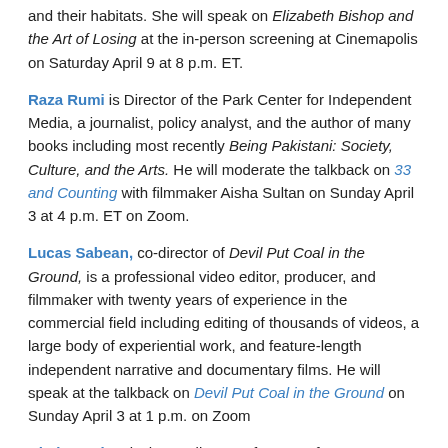and their habitats.  She will speak on Elizabeth Bishop and the Art of Losing at the in-person screening at Cinemapolis on Saturday April 9 at 8 p.m. ET.
Raza Rumi is Director of the Park Center for Independent Media, a journalist, policy analyst,  and the author of many books including most recently Being Pakistani: Society, Culture, and the Arts.  He will moderate the talkback on 33 and Counting with filmmaker Aisha Sultan on Sunday April 3 at 4 p.m. ET on Zoom.
Lucas Sabean, co-director of Devil Put Coal in the Ground, is a professional video editor, producer, and filmmaker with twenty years of experience in the commercial field including editing of thousands of videos, a large body of experiential work, and feature-length independent narrative and documentary films. He will speak at the talkback on Devil Put Coal in the Ground on Sunday April 3 at 1 p.m. on Zoom
Abel Sanchez is the co-director of A Song for Cesar. He has lead his band Abel and the Prophets, a San Francisco soul music